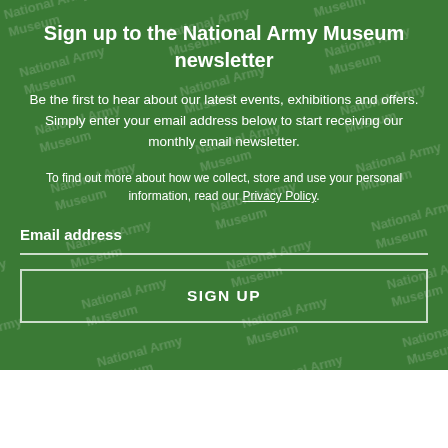Sign up to the National Army Museum newsletter
Be the first to hear about our latest events, exhibitions and offers. Simply enter your email address below to start receiving our monthly email newsletter.
To find out more about how we collect, store and use your personal information, read our Privacy Policy.
Email address
SIGN UP